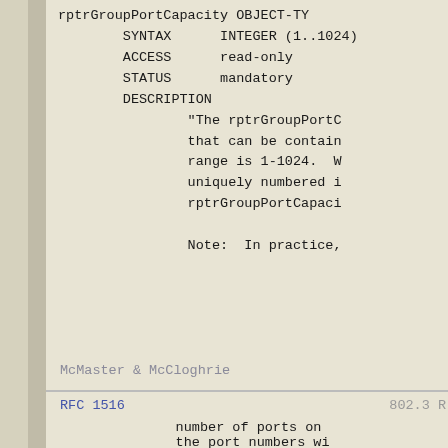rptrGroupPortCapacity OBJECT-TY
        SYNTAX      INTEGER (1..1024)
        ACCESS      read-only
        STATUS      mandatory
        DESCRIPTION
                "The rptrGroupPortC
                that can be contain
                range is 1-1024.  W
                uniquely numbered i
                rptrGroupPortCapaci

                Note:  In practice,
McMaster & McCloghrie
RFC 1516                                                        802.3 R
number of ports on
the port numbers wi
on the physical emb